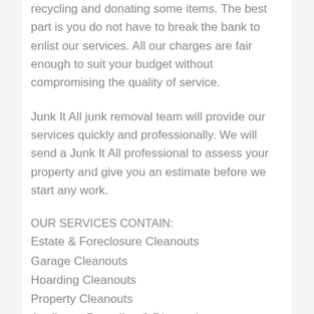recycling and donating some items. The best part is you do not have to break the bank to enlist our services. All our charges are fair enough to suit your budget without compromising the quality of service.
Junk It All junk removal team will provide our services quickly and professionally. We will send a Junk It All professional to assess your property and give you an estimate before we start any work.
OUR SERVICES CONTAIN:
Estate & Foreclosure Cleanouts
Garage Cleanouts
Hoarding Cleanouts
Property Cleanouts
Appliance Recycling & Disposal
TV Recycling and Disposal
Yard Waste Removal